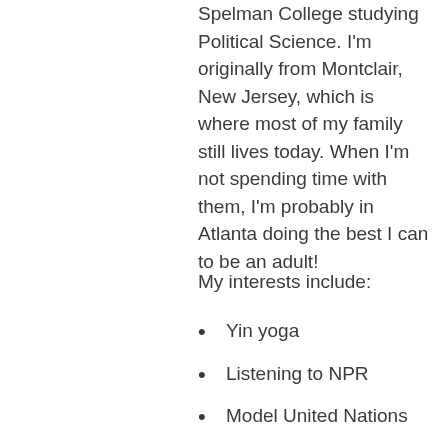Spelman College studying Political Science. I'm originally from Montclair, New Jersey, which is where most of my family still lives today. When I'm not spending time with them, I'm probably in Atlanta doing the best I can to be an adult!
My interests include:
Yin yoga
Listening to NPR
Model United Nations
The real United Nations
Volunteering at my local library
Talking about the socio-political implications of rap music
Watching TONS of reality...